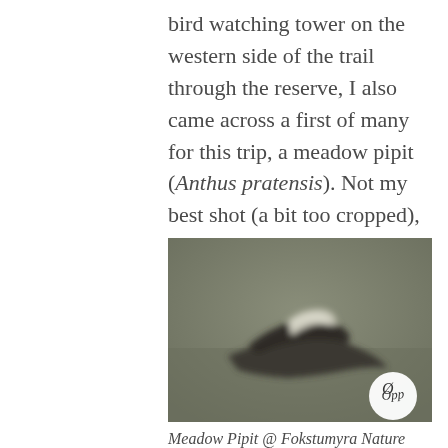bird watching tower on the western side of the trail through the reserve, I also came across a first of many for this trip, a meadow pipit (Anthus pratensis). Not my best shot (a bit too cropped), but I like it:
[Figure (photo): A blurry, heavily cropped photo of a meadow pipit (Anthus pratensis) in flight against a muted olive-grey sky background. The bird appears as a dark silhouette with a pale/white wing patch. A circular white watermark/logo with cursive text is in the lower right corner.]
Meadow Pipit @ Fokstumyra Nature